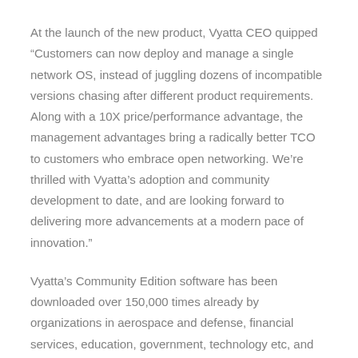At the launch of the new product, Vyatta CEO quipped “Customers can now deploy and manage a single network OS, instead of juggling dozens of incompatible versions chasing after different product requirements. Along with a 10X price/performance advantage, the management advantages bring a radically better TCO to customers who embrace open networking. We’re thrilled with Vyatta’s adoption and community development to date, and are looking forward to delivering more advancements at a modern pace of innovation.”
Vyatta’s Community Edition software has been downloaded over 150,000 times already by organizations in aerospace and defense, financial services, education, government, technology etc, and the number is increasing by the day. Hopefully, the new Community Edition version VC4 also draws similar interest from industries across all spectrums.